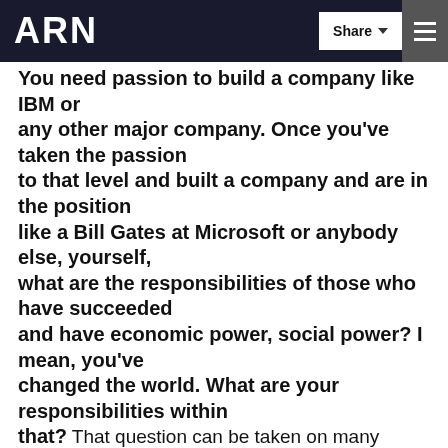ARN | Share | Menu
You need p[assion to buil]d a company lik[e IBM or] any other major company. Once you've taken the passion to that level and built a company and are in the position like a Bill Gates at Microsoft or anybody else, yourself, what are the responsibilities of those who have succeeded and have economic power, social power? I mean, you've changed the world. What are your responsibilities within that? That question can be taken on many levels. Obviously if you're running a company you have responsibilities but as an individual I don't think you have responsibilities. I think the work speaks for itself. I don't think that people have special responsibilities just because they've done something that other people like or don't like. I think the work speaks for itself.
I think people could choose to do things if they want to but